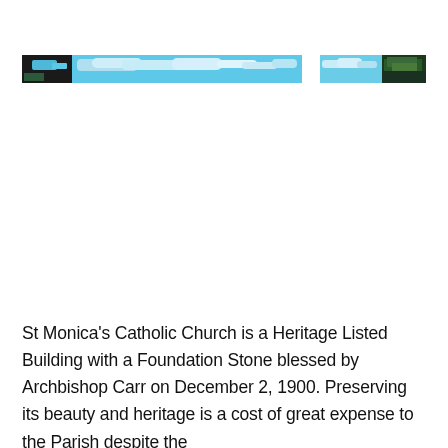[Figure (photo): A narrow horizontal strip of a photograph showing a partial outdoor scene with blue sky, white clouds, and green foliage/trees. The image is cropped to a thin horizontal band.]
St Monica's Catholic Church is a Heritage Listed Building with a Foundation Stone blessed by Archbishop Carr on December 2, 1900. Preserving its beauty and heritage is a cost of great expense to the Parish despite the